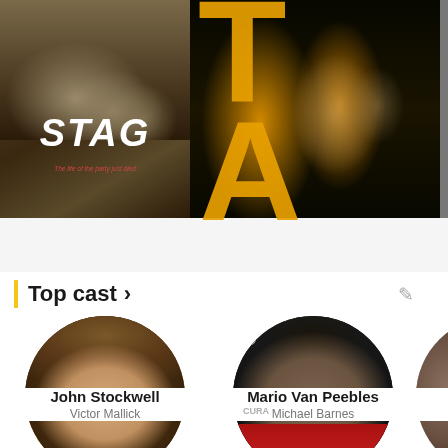[Figure (photo): Movie poster collage showing three posters: STAG (The life of the party just died), TAG, and a partially visible third poster]
Top cast >
[Figure (photo): Circular portrait photo of actor John Stockwell smiling]
John Stockwell
Victor Mallick
[Figure (photo): Circular portrait photo of actor Mario Van Peebles at an Acura event in red shirt]
Mario Van Peebles
Michael Barnes